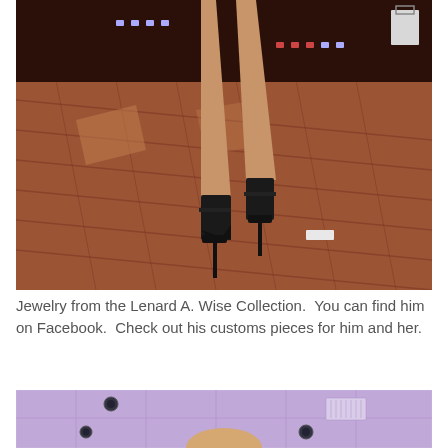[Figure (photo): Photo of a model's legs wearing high-heeled platform sandals on a wooden parquet dance floor at an event, with stage lighting visible in the background.]
Jewelry from the Lenard A. Wise Collection.  You can find him on Facebook.  Check out his customs pieces for him and her.
[Figure (photo): Photo of an indoor event venue ceiling with recessed lighting emitting purple/violet light, with the top of a person's head visible at the bottom of the frame.]